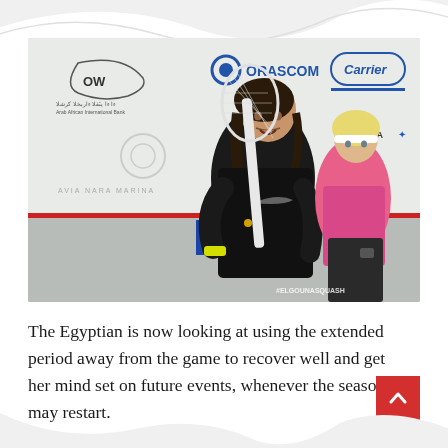[Figure (photo): Two squash players on an indoor court. The foreground player is a young Egyptian woman in a black Nike outfit with yellow wristband, holding a squash racket. In the background is a blonde woman in a pink top. The court backdrop shows sponsor logos including Orascom and Carrier. A watermark reads #ELGOUNASQUASH.]
The Egyptian is now looking at using the extended period away from the game to recover well and get her mind set on future events, whenever the season may restart.